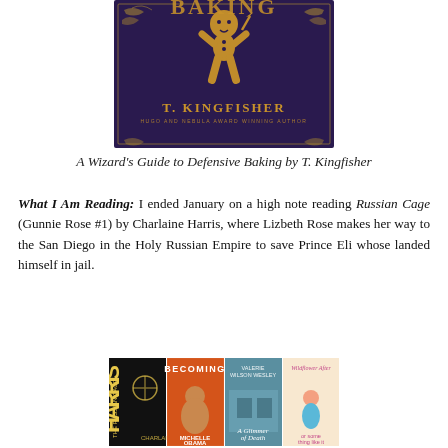[Figure (photo): Book cover of 'A Wizard's Guide to Defensive Baking' by T. Kingfisher (Hugo and Nebula Award Winning Author). Dark purple/navy background with gold gingerbread man illustration and ornate gold lettering.]
A Wizard's Guide to Defensive Baking by T. Kingfisher
What I Am Reading: I ended January on a high note reading Russian Cage (Gunnie Rose #1) by Charlaine Harris, where Lizbeth Rose makes her way to the San Diego in the Holy Russian Empire to save Prince Eli whose landed himself in jail.
[Figure (photo): Four book covers side by side: 'The Russian Cage' by Charlaine Harris (dark with golden key), 'Becoming' by Michelle Obama (woman in orange/warm tones), 'A Glimmer of Death' by Valerie Wilson Wesley (storefront scene), and an untitled book with a woman sitting illustration (pink/yellow tones).]